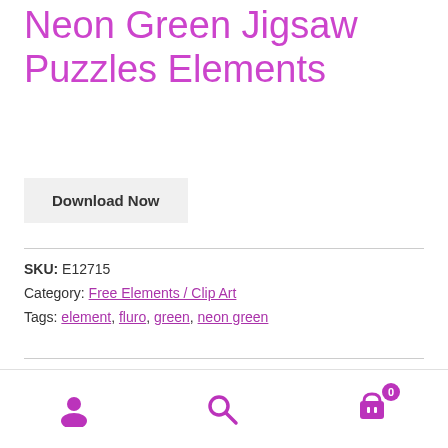Neon Green Jigsaw Puzzles Elements
Download Now
SKU: E12715
Category: Free Elements / Clip Art
Tags: element, fluro, green, neon green
Description
User icon | Search icon | Cart icon (0)